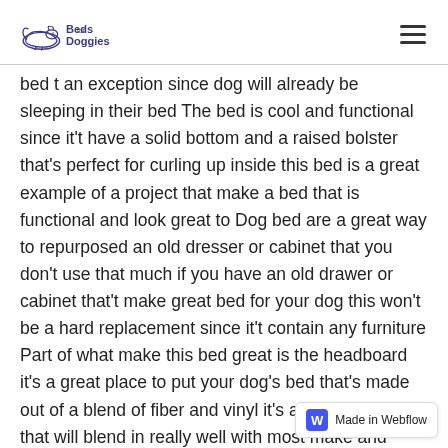Beds for Doggies
bed t an exception since dog will already be sleeping in their bed The bed is cool and functional since it't have a solid bottom and a raised bolster that's perfect for curling up inside this bed is a great example of a project that make a bed that is functional and look great to Dog bed are a great way to repurposed an old dresser or cabinet that you don't use that much if you have an old drawer or cabinet that't make great bed for your dog this won't be a hard replacement since it't contain any furniture Part of what make this bed great is the headboard it's a great place to put your dog's bed that's made out of a blend of fiber and vinyl it's a unique design that will blend in really well with most make and model Whether your dog is curling up inside their dog bed or resting their head on the pillow in the middle of a pile of laundry this bed will serve